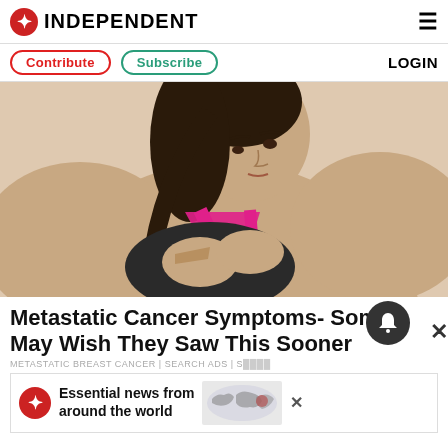INDEPENDENT
Contribute | Subscribe | LOGIN
[Figure (photo): Young woman in black and pink sports bra clutching her chest/breast area with both hands, looking down, on a beige background — illustrating breast cancer symptoms]
Metastatic Cancer Symptoms- Some May Wish They Saw This Sooner
METASTATIC BREAST CANCER | SEARCH ADS | S...
[Figure (infographic): The Independent advertisement banner: red eagle logo, text 'Essential news from around the world', world map graphic, X close button]